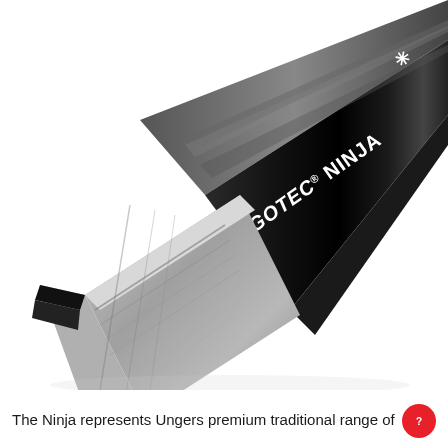[Figure (photo): Close-up product photo of the Unger ErgoTec Ninja squeegee/window cleaning tool — a black metallic elongated handle with white text reading 'ErgoTec® Ninja' and a ninja star logo, with a grey plastic clip/channel attachment at one end, shown diagonally against a white background.]
The Ninja represents Ungers premium traditional range of